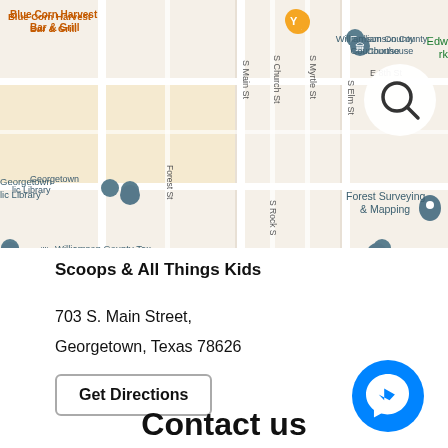[Figure (map): Google Maps view of Georgetown, Texas showing Williamson County Courthouse, Blue Corn Harvest Bar & Grill, Williamson County Tax Office - Larry Gaddes, Georgetown Public Library, Forest Surveying & Mapping, and streets including S Main St, S Church St, S Myrtle St, S Elm St, Forest St, S Rock St, E 8th St. A search icon is visible in the top right.]
Scoops & All Things Kids
703 S. Main Street,
Georgetown, Texas 78626
Get Directions
[Figure (logo): Facebook Messenger icon - blue circle with white lightning bolt chat bubble]
Contact us